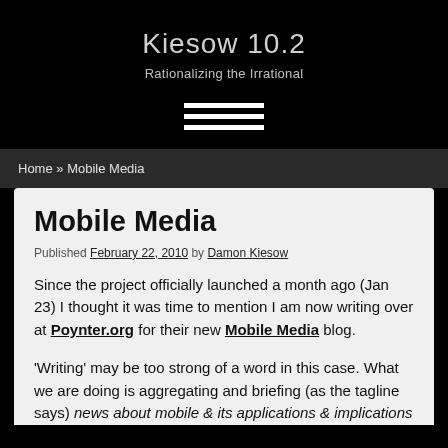Kiesow 10.2
Rationalizing the Irrational
[Figure (other): Hamburger menu icon with three horizontal white bars]
Home » Mobile Media
Mobile Media
Published February 22, 2010 by Damon Kiesow
Since the project officially launched a month ago (Jan 23) I thought it was time to mention I am now writing over at Poynter.org for their new Mobile Media blog.
'Writing' may be too strong of a word in this case. What we are doing is aggregating and briefing (as the tagline says) news about mobile & its applications & implications